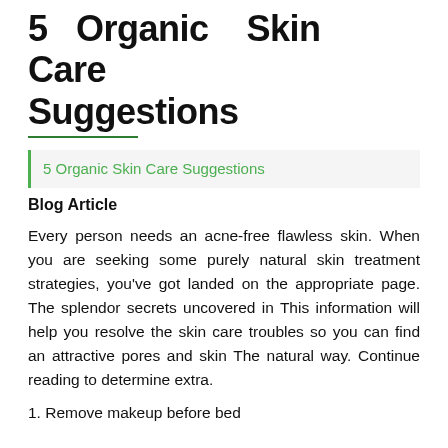5 Organic Skin Care Suggestions
5 Organic Skin Care Suggestions
Blog Article
Every person needs an acne-free flawless skin. When you are seeking some purely natural skin treatment strategies, you've got landed on the appropriate page. The splendor secrets uncovered in This information will help you resolve the skin care troubles so you can find an attractive pores and skin The natural way. Continue reading to determine extra.
1. Remove makeup before bed